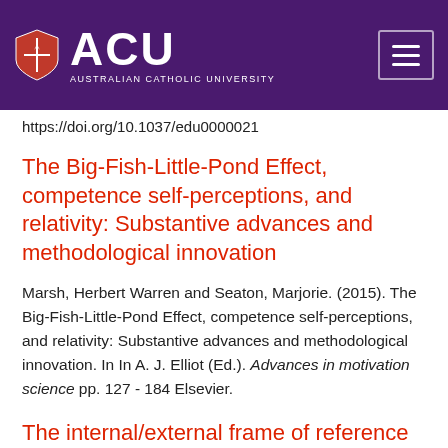[Figure (logo): ACU Australian Catholic University logo with shield emblem on purple header background, with hamburger menu button on the right]
https://doi.org/10.1037/edu0000021
The Big-Fish-Little-Pond Effect, competence self-perceptions, and relativity: Substantive advances and methodological innovation
Marsh, Herbert Warren and Seaton, Marjorie. (2015). The Big-Fish-Little-Pond Effect, competence self-perceptions, and relativity: Substantive advances and methodological innovation. In In A. J. Elliot (Ed.). Advances in motivation science pp. 127 - 184 Elsevier.
The internal/external frame of reference model for self-concept and achievement